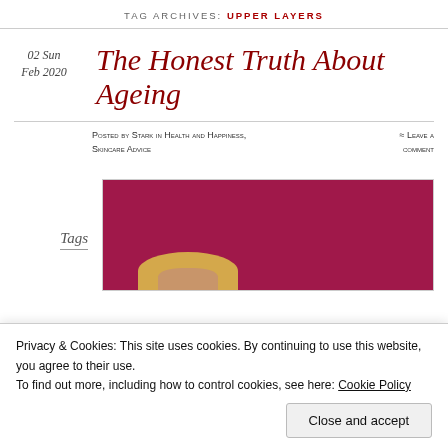TAG ARCHIVES: UPPER LAYERS
02 Sun
Feb 2020
The Honest Truth About Ageing
Posted by Stark in Health and Happiness, Skincare Advice
≈ Leave a comment
[Figure (photo): Photo of a person against a deep pink/crimson background, partially visible]
Tags
Privacy & Cookies: This site uses cookies. By continuing to use this website, you agree to their use.
To find out more, including how to control cookies, see here: Cookie Policy
Close and accept